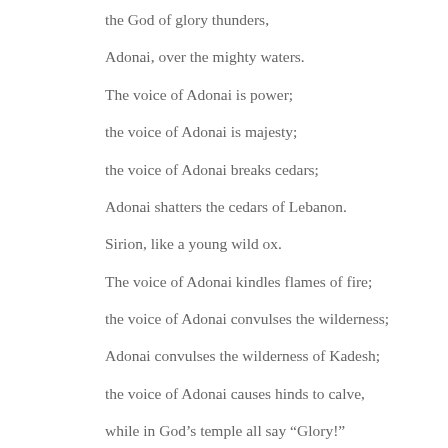the God of glory thunders,
Adonai, over the mighty waters.
The voice of Adonai is power;
the voice of Adonai is majesty;
the voice of Adonai breaks cedars;
Adonai shatters the cedars of Lebanon.
Sirion, like a young wild ox.
The voice of Adonai kindles flames of fire;
the voice of Adonai convulses the wilderness;
Adonai convulses the wilderness of Kadesh;
the voice of Adonai causes hinds to calve,
while in God’s temple all say “Glory!”